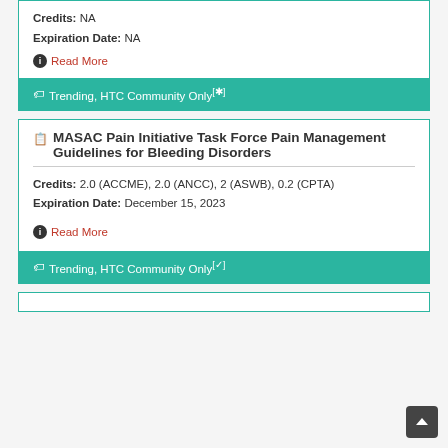Credits: NA
Expiration Date: NA
Read More
Trending, HTC Community Only[*]
MASAC Pain Initiative Task Force Pain Management Guidelines for Bleeding Disorders
Credits: 2.0 (ACCME), 2.0 (ANCC), 2 (ASWB), 0.2 (CPTA)
Expiration Date: December 15, 2023
Read More
Trending, HTC Community Only[✓]